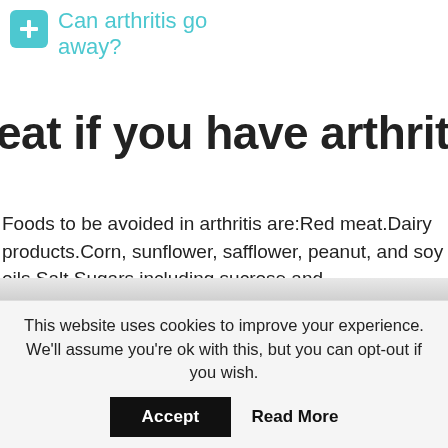Can arthritis go away?
eat if you have arthritis?
Foods to be avoided in arthritis are:Red meat.Dairy products.Corn, sunflower, safflower, peanut, and soy oils.Salt.Sugars including sucrose and fructose.Fried or grilled foods.Alcohol.Refined carbohydrates such as biscuits, white bread, and pasta.
Can losing weight help with
This website uses cookies to improve your experience. We'll assume you're ok with this, but you can opt-out if you wish.
Accept   Read More